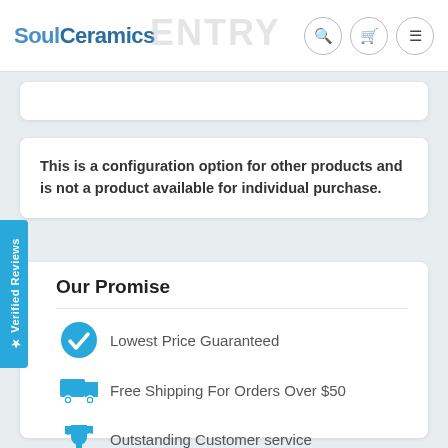SoulCeramics
This is a configuration option for other products and is not a product available for individual purchase.
Our Promise
Lowest Price Guaranteed
Free Shipping For Orders Over $50
Outstanding Customer service